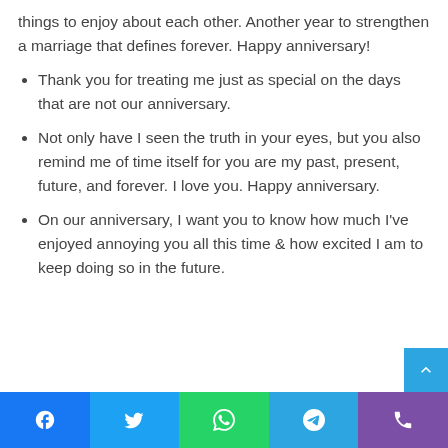things to enjoy about each other. Another year to strengthen a marriage that defines forever. Happy anniversary!
Thank you for treating me just as special on the days that are not our anniversary.
Not only have I seen the truth in your eyes, but you also remind me of time itself for you are my past, present, future, and forever. I love you. Happy anniversary.
On our anniversary, I want you to know how much I've enjoyed annoying you all this time & how excited I am to keep doing so in the future.
Social share bar: Facebook, Twitter, WhatsApp, Telegram, Phone